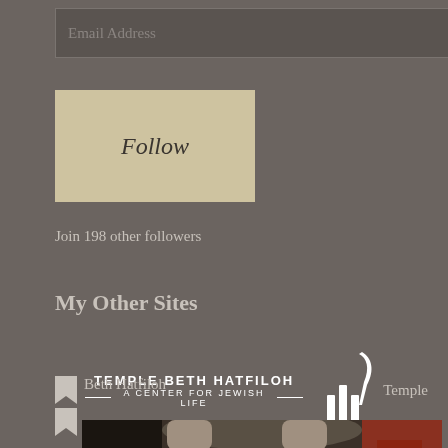Email Address
Follow
Join 198 other followers
My Other Sites
[Figure (logo): Temple Beth Hatfiloh logo - A Center for Jewish Life with menorah-style symbol]
Temple Beth Hatfiloh
[Figure (photo): Photo of car interior with bags/items in back seat, viewed from behind front seats]